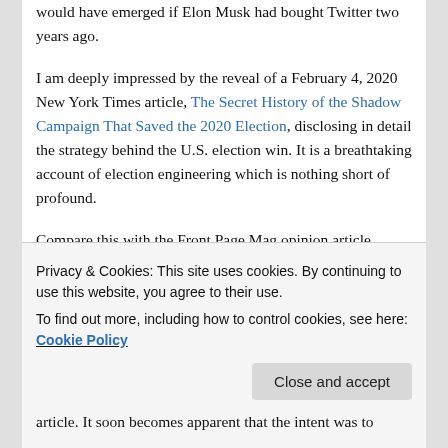would have emerged if Elon Musk had bought Twitter two years ago.
I am deeply impressed by the reveal of a February 4, 2020 New York Times article, The Secret History of the Shadow Campaign That Saved the 2020 Election, disclosing in detail the strategy behind the U.S. election win. It is a breathtaking account of election engineering which is nothing short of profound.
Compare this with the Front Page Mag opinion article entitled, Yes It Was a Stolen Election, published on December 23, 2020 which tells what it was like to be on the receiving end of the election protection machine. This
Privacy & Cookies: This site uses cookies. By continuing to use this website, you agree to their use.
To find out more, including how to control cookies, see here: Cookie Policy
article. It soon becomes apparent that the intent was to